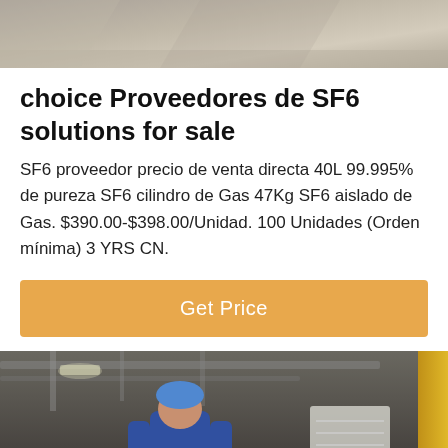[Figure (photo): Top image showing industrial or construction background, grayish-beige tones]
choice Proveedores de SF6 solutions for sale
SF6 proveedor precio de venta directa 40L 99.995% de pureza SF6 cilindro de Gas 47Kg SF6 aislado de Gas. $390.00-$398.00/Unidad. 100 Unidades (Orden mínima) 3 YRS CN.
[Figure (other): Orange Get Price button]
[Figure (photo): Bottom image showing industrial worker in blue coveralls and helmet inside a factory or workshop, with yellow pillar on right side. Bottom overlay shows chat bar with Leave Message on left, Chat Online on right, and a customer service avatar in the center.]